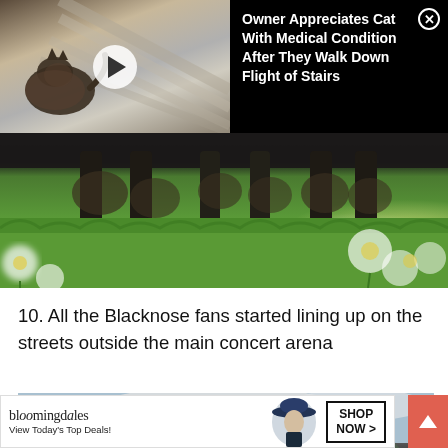[Figure (screenshot): Video ad overlay: left half shows a cat on stairs (dark photo with play button), right half is black background with white text title and circular X close button]
Owner Appreciates Cat With Medical Condition After They Walk Down Flight of Stairs
[Figure (photo): Close-up photo of what appears to be hooved animal legs (cow or similar) on bright green grass, with blurred white and yellow flowers in the foreground]
10. All the Blacknose fans started lining up on the streets outside the main concert arena
[Figure (photo): Greyscale/muted photo of a mountain landscape with snowy peaks and cloudy sky, partially loaded. Has CLOSE button overlay.]
[Figure (screenshot): Bloomingdale's advertisement banner: logo on left, woman with hat in center, SHOP NOW > button on right. Text: View Today's Top Deals!]